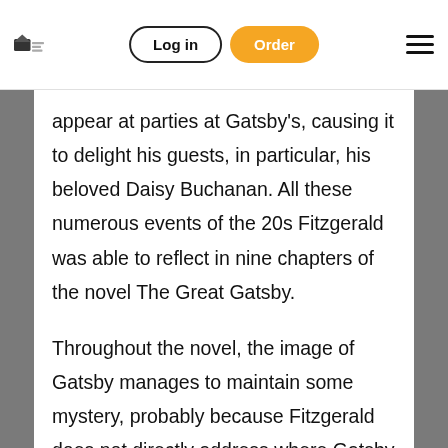Log in | Order
appear at parties at Gatsby's, causing it to delight his guests, in particular, his beloved Daisy Buchanan. All these numerous events of the 20s Fitzgerald was able to reflect in nine chapters of the novel The Great Gatsby.
Throughout the novel, the image of Gatsby manages to maintain some mystery, probably because Fitzgerald does not directly address where Gatsby acquired his wealth. As the plot develops, the reader gradually suspects that Gatsby